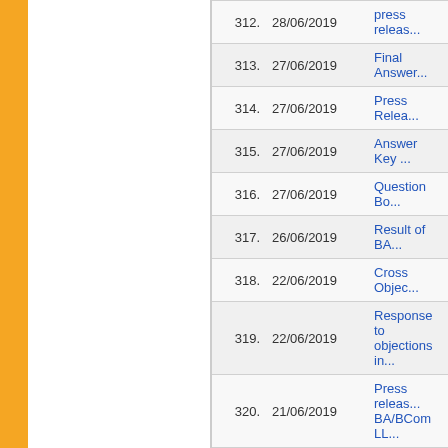| No. | Date | Title |
| --- | --- | --- |
| 312. | 28/06/2019 | press release... |
| 313. | 27/06/2019 | Final Answer... |
| 314. | 27/06/2019 | Press Relea... |
| 315. | 27/06/2019 | Answer Key ... |
| 316. | 27/06/2019 | Question Bo... |
| 317. | 26/06/2019 | Result of BA... |
| 318. | 22/06/2019 | Cross Objec... |
| 319. | 22/06/2019 | Response to objections in... |
| 320. | 21/06/2019 | Press releas... BA/BCom LL... |
| 321. | 21/06/2019 | Response to objections in... |
| 322. | 18/06/2019 | Answer Key ... |
| 323. | 18/06/2019 | Answer Key ... Course-2019... |
| 324. | 18/06/2019 | Answer Key ... |
| 325. | 18/06/2019 | Answer Key ... - 2019... |